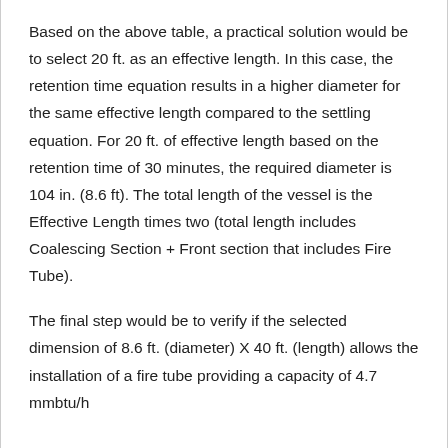Based on the above table, a practical solution would be to select 20 ft. as an effective length. In this case, the retention time equation results in a higher diameter for the same effective length compared to the settling equation. For 20 ft. of effective length based on the retention time of 30 minutes, the required diameter is 104 in. (8.6 ft). The total length of the vessel is the Effective Length times two (total length includes Coalescing Section + Front section that includes Fire Tube).
The final step would be to verify if the selected dimension of 8.6 ft. (diameter) X 40 ft. (length) allows the installation of a fire tube providing a capacity of 4.7 mmbtu/h